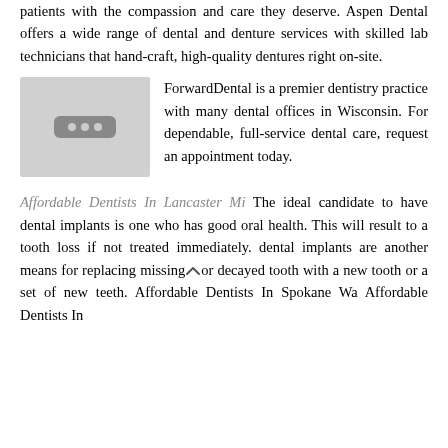patients with the compassion and care they deserve. Aspen Dental offers a wide range of dental and denture services with skilled lab technicians that hand-craft, high-quality dentures right on-site.
[Figure (photo): Placeholder image with a dark rounded rectangle containing three light dots, representing a logo or image placeholder for ForwardDental.]
ForwardDental is a premier dentistry practice with many dental offices in Wisconsin. For dependable, full-service dental care, request an appointment today.
Affordable Dentists In Lancaster Mi The ideal candidate to have dental implants is one who has good oral health. This will result to a tooth loss if not treated immediately. dental implants are another means for replacing missing or decayed tooth with a new tooth or a set of new teeth. Affordable Dentists In Spokane Wa Affordable Dentists In